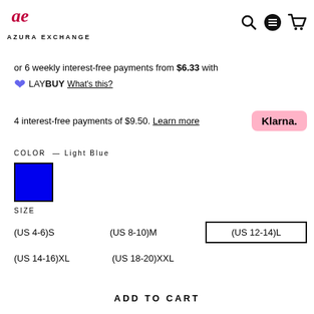AZURA EXCHANGE
or 6 weekly interest-free payments from $6.33 with LAYBUY What's this?
4 interest-free payments of $9.50. Learn more Klarna.
COLOR — Light Blue
[Figure (other): Light blue color swatch — a blue filled square with black border]
SIZE
(US 4-6)S
(US 8-10)M
(US 12-14)L (selected)
(US 14-16)XL
(US 18-20)XXL
ADD TO CART